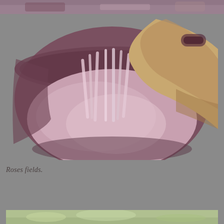[Figure (photo): Top portion of a photo showing a rose field or garden, partially cropped at the top of the page]
[Figure (photo): A large round copper or earthen vessel filled with pink rose petals, with a person's hands or arms (wearing tan/beige clothing) reaching into the vessel, mixing or handling the petals]
Roses fields.
[Figure (photo): Bottom portion of another photo, partially visible at the bottom of the page, showing greenery or a garden scene]